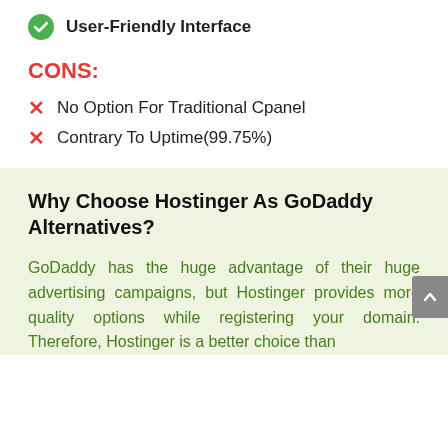✓ User-Friendly Interface
CONS:
✗ No Option For Traditional Cpanel
✗ Contrary To Uptime(99.75%)
Why Choose Hostinger As GoDaddy Alternatives?
GoDaddy has the huge advantage of their huge advertising campaigns, but Hostinger provides more quality options while registering your domain. Therefore, Hostinger is a better choice than